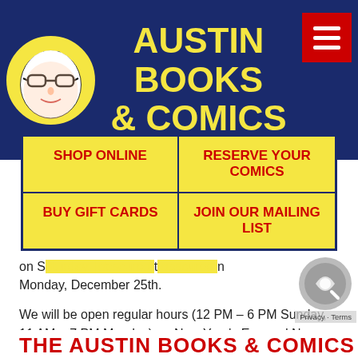[Figure (logo): Austin Books & Comics logo with mascot character and yellow text on dark blue background, with red hamburger menu button]
SHOP ONLINE
RESERVE YOUR COMICS
BUY GIFT CARDS
JOIN OUR MAILING LIST
on Saturday, [obscured text], on Monday, December 25th.
We will be open regular hours (12 PM – 6 PM Sunday, 11 AM – 7 PM Monday) on New Year's Eve and New Year's Day.
Leave a comment | 0 Comments | Tags: christmas, holidays
THE AUSTIN BOOKS & COMICS...